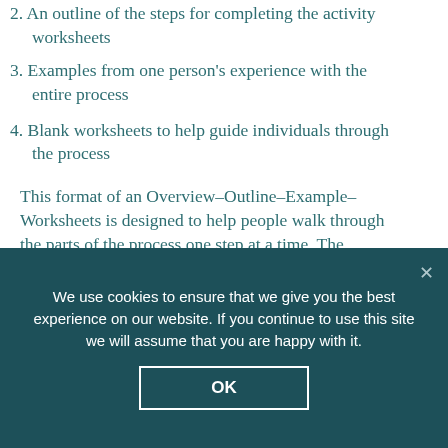2. An outline of the steps for completing the activity worksheets
3. Examples from one person's experience with the entire process
4. Blank worksheets to help guide individuals through the process
This format of an Overview–Outline–Example–Worksheets is designed to help people walk through the parts of the process one step at a time. The activities are written in PDF files, which allows the
We use cookies to ensure that we give you the best experience on our website. If you continue to use this site we will assume that you are happy with it.
OK